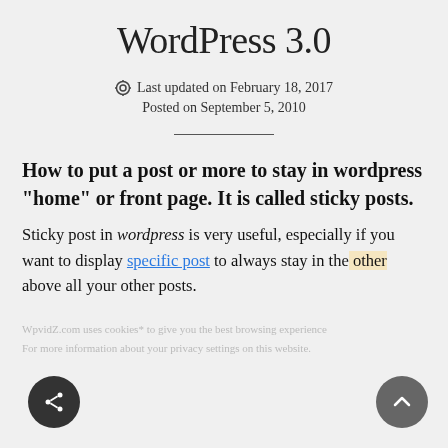WordPress 3.0
Last updated on February 18, 2017
Posted on September 5, 2010
How to put a post or more to stay in wordpress “home” or front page. It is called sticky posts.
Sticky post in wordpress is very useful, especially if you want to display specific post to always stay in the above all your other posts.